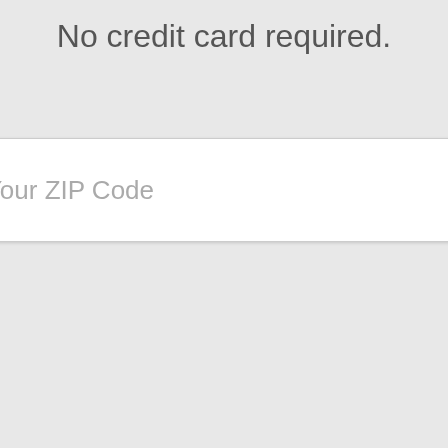No credit card required.
[Figure (screenshot): A web form input field with placeholder text 'Enter Your ZIP Code' and a blue 'GO' button on the right side]